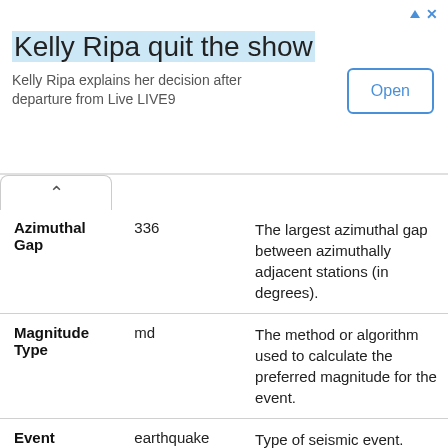[Figure (other): Advertisement banner: 'Kelly Ripa quit the show' with subtext 'Kelly Ripa explains her decision after departure from Live LIVE9' and an Open button]
| Field | Value | Description |
| --- | --- | --- |
| Azimuthal Gap | 336 | The largest azimuthal gap between azimuthally adjacent stations (in degrees). |
| Magnitude Type | md | The method or algorithm used to calculate the preferred magnitude for the event. |
| Event Type | earthquake | Type of seismic event. |
| Event ID | pr2021039010 | Id of event. |
| Event Code | 2021039010 | An identifying code assigned by, and unique from, the corresponding source for the event. |